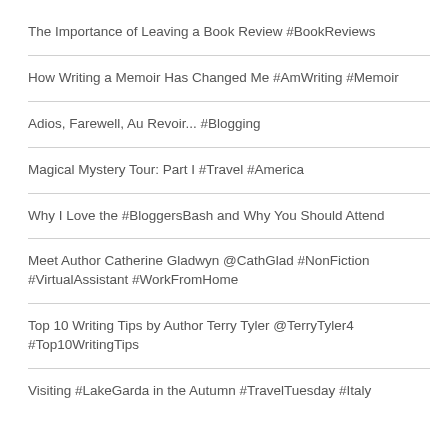The Importance of Leaving a Book Review #BookReviews
How Writing a Memoir Has Changed Me #AmWriting #Memoir
Adios, Farewell, Au Revoir... #Blogging
Magical Mystery Tour: Part I #Travel #America
Why I Love the #BloggersBash and Why You Should Attend
Meet Author Catherine Gladwyn @CathGlad #NonFiction #VirtualAssistant #WorkFromHome
Top 10 Writing Tips by Author Terry Tyler @TerryTyler4 #Top10WritingTips
Visiting #LakeGarda in the Autumn #TravelTuesday #Italy